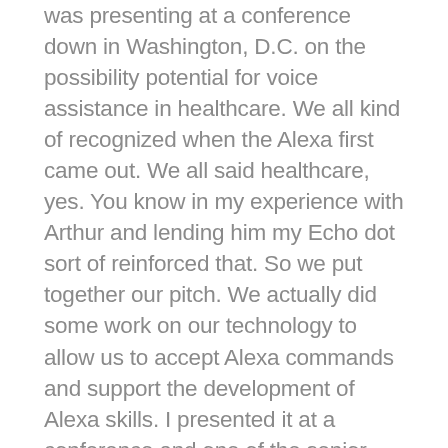was presenting at a conference down in Washington, D.C. on the possibility potential for voice assistance in healthcare. We all kind of recognized when the Alexa first came out. We all said healthcare, yes. You know in my experience with Arthur and lending him my Echo dot sort of reinforced that. So we put together our pitch. We actually did some work on our technology to allow us to accept Alexa commands and support the development of Alexa skills. I presented it at a conference and one of the senior executives in the Innovation Lab at the Mayo Clinic approached me and said, we're just starting to think about this. Can we work together? And that's recurred, that's just not with the Mayo Clinic, but with other